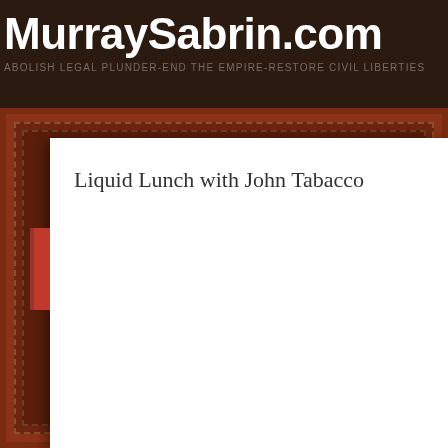MurraySabrin.com
ABOLISH LEGAL PLUNDER-END THE EMPIRE-RESTORE CIVIL LIBERTIES
Liquid Lunch with John Tabacco